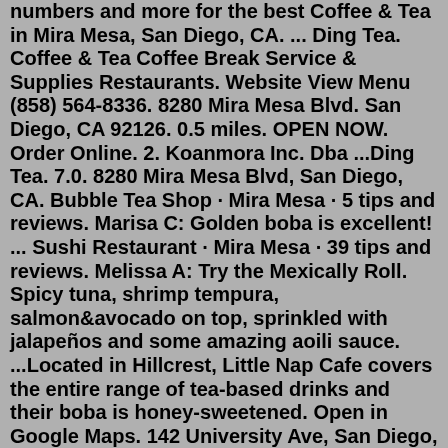numbers and more for the best Coffee & Tea in Mira Mesa, San Diego, CA. ... Ding Tea. Coffee & Tea Coffee Break Service & Supplies Restaurants. Website View Menu (858) 564-8336. 8280 Mira Mesa Blvd. San Diego, CA 92126. 0.5 miles. OPEN NOW. Order Online. 2. Koanmora Inc. Dba ...Ding Tea. 7.0. 8280 Mira Mesa Blvd, San Diego, CA. Bubble Tea Shop · Mira Mesa · 5 tips and reviews. Marisa C: Golden boba is excellent! ... Sushi Restaurant · Mira Mesa · 39 tips and reviews. Melissa A: Try the Mexically Roll. Spicy tuna, shrimp tempura, salmon&avocado on top, sprinkled with jalapeños and some amazing aoili sauce. ...Located in Hillcrest, Little Nap Cafe covers the entire range of tea-based drinks and their boba is honey-sweetened. Open in Google Maps. 142 University Ave, San Diego, CA 92103. (619) 677-2117. Visit Website. Little Nap Cafe/Facebook.A blog about digital entertainment, hosted by Jon Healey (August 2006 - August 2008) Bolsa Vietnamese Restaurant Left (W) - 0.42 miles Best Pizza & Brew Mira Mesa Left (W) - 0.42 miles ...